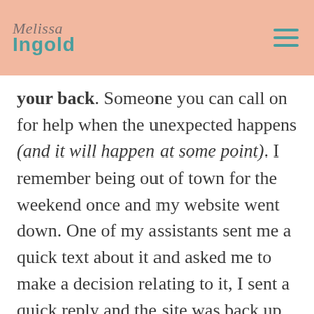Melissa Ingold
your back. Someone you can call on for help when the unexpected happens (and it will happen at some point). I remember being out of town for the weekend once and my website went down. One of my assistants sent me a quick text about it and asked me to make a decision relating to it, I sent a quick reply and the site was back up in no time. Having support meant that I didn't have to stress about it the whole time that I was away.